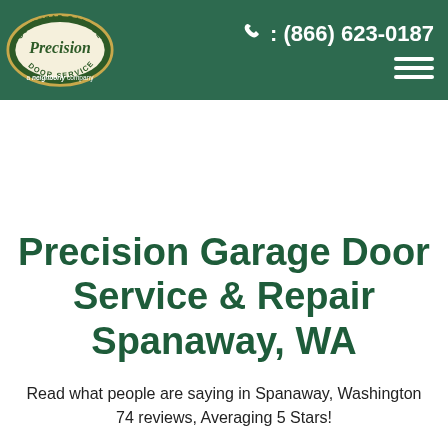Precision Overhead Garage Door Service — a Neighborly company | ☎: (866) 623-0187
Precision Garage Door Service & Repair Spanaway, WA
Read what people are saying in Spanaway, Washington 74 reviews, Averaging 5 Stars!